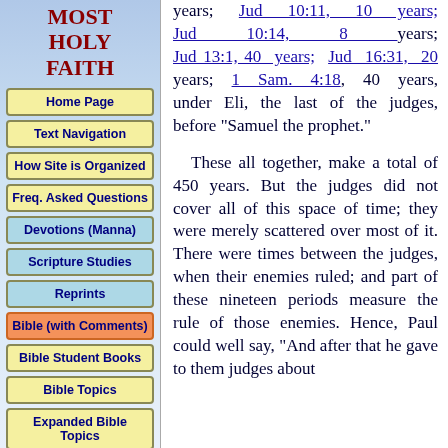MOST HOLY FAITH
Home Page
Text Navigation
How Site is Organized
Freq. Asked Questions
Devotions (Manna)
Scripture Studies
Reprints
Bible (with Comments)
Bible Student Books
Bible Topics
Expanded Bible Topics
Bible Student Webs
Miscellaneous
years; Jud 10:11, 10 years; Jud 10:14, 8 years; Jud 13:1, 40 years; Jud 16:31, 20 years; 1 Sam. 4:18, 40 years, under Eli, the last of the judges, before "Samuel the prophet."

These all together, make a total of 450 years. But the judges did not cover all of this space of time; they were merely scattered over most of it. There were times between the judges, when their enemies ruled; and part of these nineteen periods measure the rule of those enemies. Hence, Paul could well say, "And after that he gave to them judges about